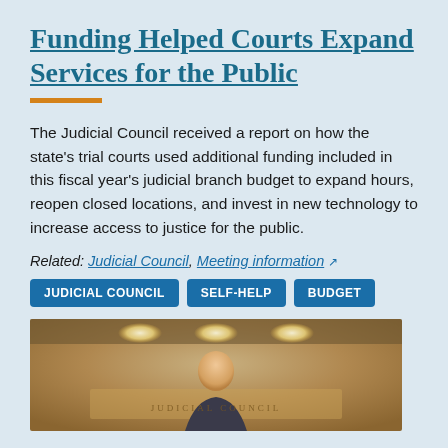Funding Helped Courts Expand Services for the Public
The Judicial Council received a report on how the state's trial courts used additional funding included in this fiscal year's judicial branch budget to expand hours, reopen closed locations, and invest in new technology to increase access to justice for the public.
Related: Judicial Council, Meeting information ↗
JUDICIAL COUNCIL
SELF-HELP
BUDGET
[Figure (photo): Photo of a person standing in front of a Judicial Council sign with ceiling lights visible above]